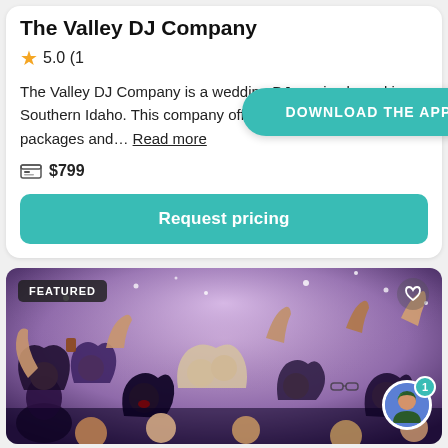The Valley DJ Company
5.0 (1
The Valley DJ Company is a wedding DJ service based in Southern Idaho. This company offers comprehensive packages and... Read more
$799
Request pricing
[Figure (photo): Crowd of people dancing at a wedding reception with hands raised and lights in the background. A couple is kissing in the center.]
FEATURED
DOWNLOAD THE APP